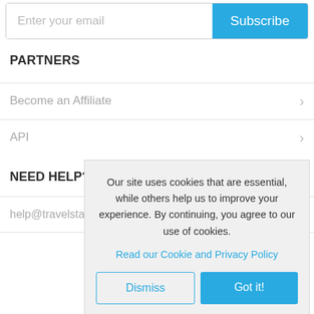Enter your email | Subscribe
PARTNERS
Become an Affiliate
API
NEED HELP?
help@travelstar...
Our site uses cookies that are essential, while others help us to improve your experience. By continuing, you agree to our use of cookies.
Read our Cookie and Privacy Policy
Dismiss | Got it!